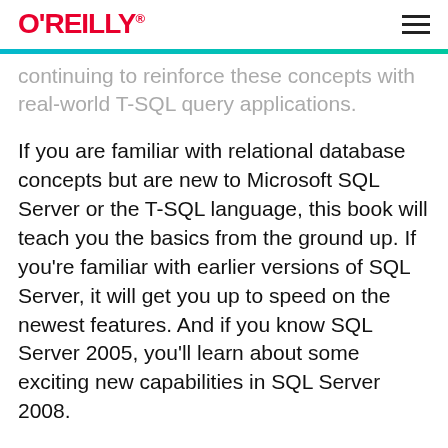O'REILLY
continuing to reinforce these concepts with real-world T-SQL query applications.
If you are familiar with relational database concepts but are new to Microsoft SQL Server or the T-SQL language, this book will teach you the basics from the ground up. If you're familiar with earlier versions of SQL Server, it will get you up to speed on the newest features. And if you know SQL Server 2005, you'll learn about some exciting new capabilities in SQL Server 2008.